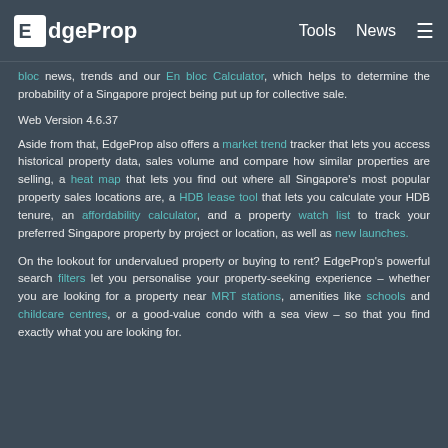EdgeProp · Tools · News
bloc news, trends and our En bloc Calculator, which helps to determine the probability of a Singapore project being put up for collective sale.
Web Version 4.6.37
Aside from that, EdgeProp also offers a market trend tracker that lets you access historical property data, sales volume and compare how similar properties are selling, a heat map that lets you find out where all Singapore's most popular property sales locations are, a HDB lease tool that lets you calculate your HDB tenure, an affordability calculator, and a property watch list to track your preferred Singapore property by project or location, as well as new launches.
On the lookout for undervalued property or buying to rent? EdgeProp's powerful search filters let you personalise your property-seeking experience – whether you are looking for a property near MRT stations, amenities like schools and childcare centres, or a good-value condo with a sea view – so that you find exactly what you are looking for.